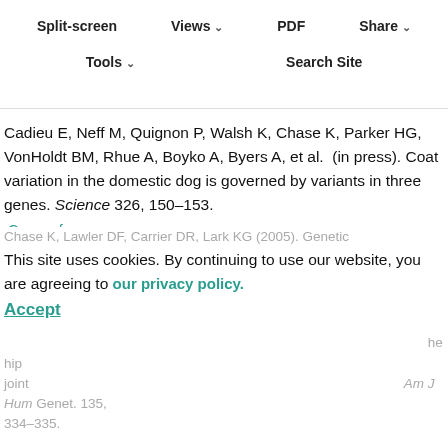Split-screen | Views | PDF | Share | Tools | Search Site
Cadieu E, Ostrander EA (2007). Canine genetics offers new methods for the study of human cancer. Epidemiol Biomarkers Prev. 16, 2181–2183. Google Scholar  Crossref
Cadieu E, Neff M, Quignon P, Walsh K, Chase K, Parker HG, VonHoldt BM, Rhue A, Boyko A, Byers A, et al. (in press). Coat variation in the domestic dog is governed by variants in three genes. Science 326, 150–153. Crossref
Chabas D, Taheri S, Renier C, Mignot E (2003). The genetics of narcolepsy. Annu Rev Genomics Hum Genet. 4, 459–483. Google Scholar  Crossref
Chase K, Lawler DF, Carrier DR, Lark KG (2005). Genetic... This site uses cookies. By continuing to use our website, you are agreeing to our privacy policy. Accept ... Am J Hum Genet. 135, 334–335.